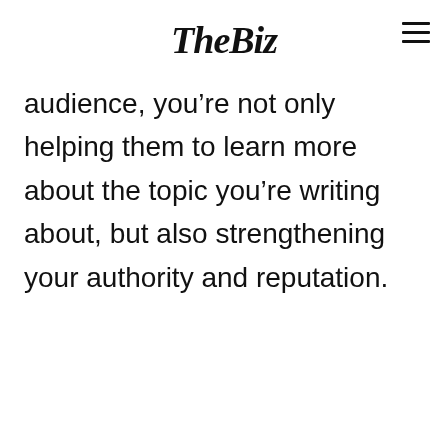TheBiz
audience, you’re not only helping them to learn more about the topic you’re writing about, but also strengthening your authority and reputation.